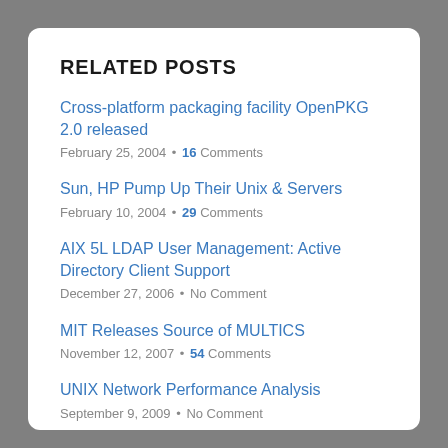RELATED POSTS
Cross-platform packaging facility OpenPKG 2.0 released
February 25, 2004 • 16 Comments
Sun, HP Pump Up Their Unix & Servers
February 10, 2004 • 29 Comments
AIX 5L LDAP User Management: Active Directory Client Support
December 27, 2006 • No Comment
MIT Releases Source of MULTICS
November 12, 2007 • 54 Comments
UNIX Network Performance Analysis
September 9, 2009 • No Comment